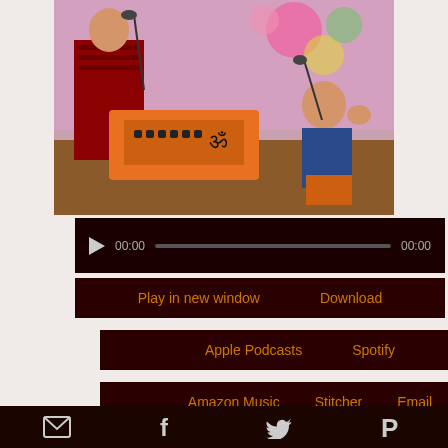[Figure (photo): Two people seated with a harmonium (orange keyboard instrument with Om symbol). Left person in red plaid shirt at microphone, right person in blue jacket gesturing. Colorful floral backdrop.]
[Figure (screenshot): Audio player widget with dark maroon background, play button triangle, time displays showing 00:00 on both sides, and a progress bar.]
Play in new window   Download
Apple Podcasts   Spotify
Amazon Music   Stitcher   Email
[Figure (screenshot): Footer bar with social/share icons: email envelope, Facebook f, Twitter bird, Pinterest P]